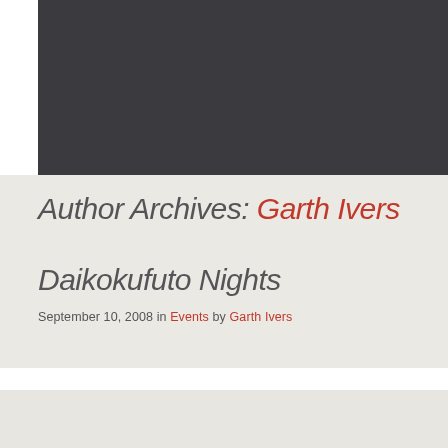[Figure (other): Dark gray banner image area at top of page]
Author Archives: Garth Ivers
Daikokufuto Nights
September 10, 2008 in Events by Garth Ivers